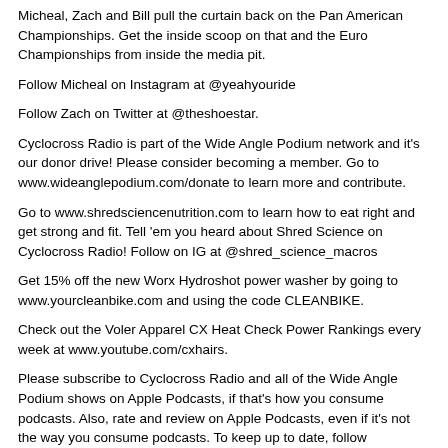Micheal, Zach and Bill pull the curtain back on the Pan American Championships. Get the inside scoop on that and the Euro Championships from inside the media pit.
Follow Micheal on Instagram at @yeahyouride
Follow Zach on Twitter at @theshoestar.
Cyclocross Radio is part of the Wide Angle Podium network and it's our donor drive! Please consider becoming a member. Go to www.wideanglepodium.com/donate to learn more and contribute.
Go to www.shredsciencenutrition.com to learn how to eat right and get strong and fit. Tell 'em you heard about Shred Science on Cyclocross Radio! Follow on IG at @shred_science_macros
Get 15% off the new Worx Hydroshot power washer by going to www.yourcleanbike.com and using the code CLEANBIKE.
Check out the Voler Apparel CX Heat Check Power Rankings every week at www.youtube.com/cxhairs.
Please subscribe to Cyclocross Radio and all of the Wide Angle Podium shows on Apple Podcasts, if that's how you consume podcasts. Also, rate and review on Apple Podcasts, even if it's not the way you consume podcasts. To keep up to date, follow @cxhairs  on Instagram and Twitter. Have a question, comment, complaint or general inquiry? Hit us up at feedback@cxhairs.com And don't hesitate to call the helpline: 405-